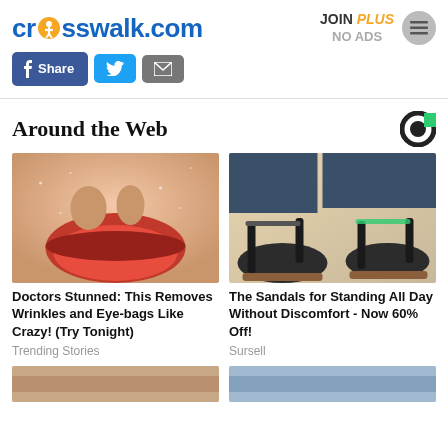crosswalk.com | JOIN PLUS NO ADS
[Figure (screenshot): Crosswalk.com logo with person/crosswalk icon, social share buttons (Facebook Share, Twitter, Email), JOIN PLUS NO ADS header button, and hamburger menu icon]
Around the Web
[Figure (photo): Close-up of a person's face with red lipstick and glittery skin texture]
Doctors Stunned: This Removes Wrinkles and Eye-bags Like Crazy! (Try Tonight)
Trending Stories
[Figure (photo): Close-up of feet wearing black sandals with ankle straps]
The Sandals for Standing All Day Without Discomfort - Now 60% Off!
Sursell